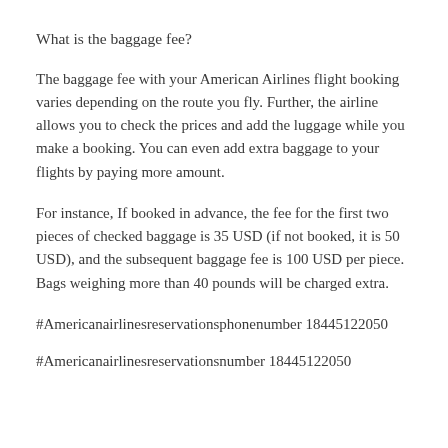What is the baggage fee?
The baggage fee with your American Airlines flight booking varies depending on the route you fly. Further, the airline allows you to check the prices and add the luggage while you make a booking. You can even add extra baggage to your flights by paying more amount.
For instance, If booked in advance, the fee for the first two pieces of checked baggage is 35 USD (if not booked, it is 50 USD), and the subsequent baggage fee is 100 USD per piece. Bags weighing more than 40 pounds will be charged extra.
#Americanairlinesreservationsphonenumber 18445122050
#Americanairlinesreservationsnumber 18445122050